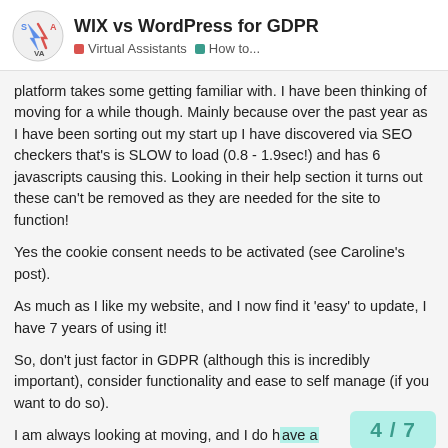WIX vs WordPress for GDPR | Virtual Assistants | How to...
platform takes some getting familiar with. I have been thinking of moving for a while though. Mainly because over the past year as I have been sorting out my start up I have discovered via SEO checkers that's is SLOW to load (0.8 - 1.9sec!) and has 6 javascripts causing this. Looking in their help section it turns out these can't be removed as they are needed for the site to function!
Yes the cookie consent needs to be activated (see Caroline's post).
As much as I like my website, and I now find it 'easy' to update, I have 7 years of using it!
So, don't just factor in GDPR (although this is incredibly important), consider functionality and ease to self manage (if you want to do so).
I am always looking at moving, and I do h Wordpress account from my travel blog d
4 / 7